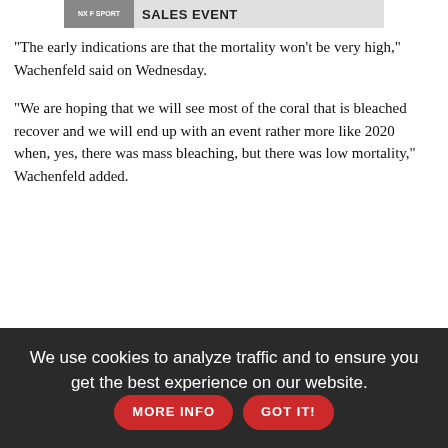[Figure (other): Advertisement banner with NX F SPORT car image and SALES EVENT text]
"The early indications are that the mortality won't be very high," Wachenfeld said on Wednesday.
"We are hoping that we will see most of the coral that is bleached recover and we will end up with an event rather more like 2020 when, yes, there was mass bleaching, but there was low mortality," Wachenfeld added.
We use cookies to analyze traffic and to ensure you get the best experience on our website. MORE INFO GOT IT!